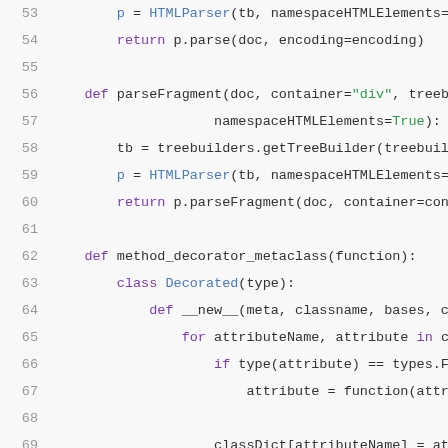Code listing lines 53-73 showing Python source code for HTMLParser and parseFragment functions
53     p = HTMLParser(tb, namespaceHTMLElements=na
54     return p.parse(doc, encoding=encoding)
55
56 def parseFragment(doc, container="div", treebu
57                  namespaceHTMLElements=True):
58     tb = treebuilders.getTreeBuilder(treebuilde
59     p = HTMLParser(tb, namespaceHTMLElements=na
60     return p.parseFragment(doc, container=conta
61
62 def method_decorator_metaclass(function):
63     class Decorated(type):
64         def __new__(meta, classname, bases, cla
65             for attributeName, attribute in cla
66                 if type(attribute) == types.Fun
67                     attribute = function(attrib
68
69                 classDict[attributeName] = attr
70             return  type.__new__(meta, classnam
71     return Decorated
72
73 class HTMLParser(object):
74